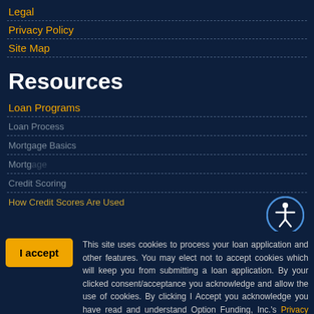Legal
Privacy Policy
Site Map
Resources
Loan Programs
Loan Process
Mortgage Basics
Mortgage
Credit Scoring
How Credit Scores Are Used
This site uses cookies to process your loan application and other features. You may elect not to accept cookies which will keep you from submitting a loan application. By your clicked consent/acceptance you acknowledge and allow the use of cookies. By clicking I Accept you acknowledge you have read and understand Option Funding, Inc.'s Privacy Policy.